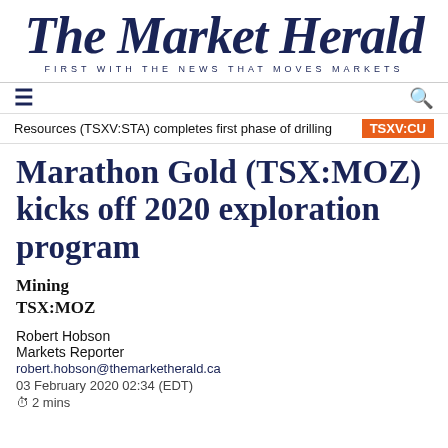The Market Herald — FIRST WITH THE NEWS THAT MOVES MARKETS
Resources (TSXV:STA) completes first phase of drilling   TSXV:CU
Marathon Gold (TSX:MOZ) kicks off 2020 exploration program
Mining
TSX:MOZ
Robert Hobson
Markets Reporter
robert.hobson@themarketherald.ca
03 February 2020 02:34 (EDT)
2 mins